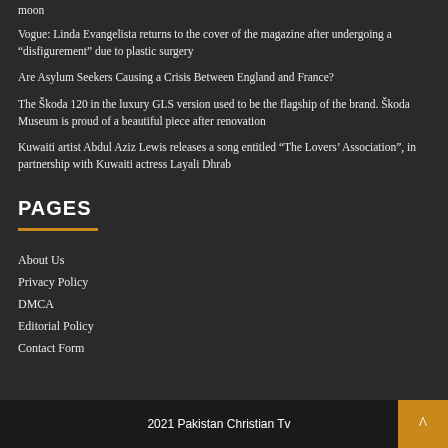moon
Vogue: Linda Evangelista returns to the cover of the magazine after undergoing a “disfigurement” due to plastic surgery
Are Asylum Seekers Causing a Crisis Between England and France?
The Škoda 120 in the luxury GLS version used to be the flagship of the brand. Škoda Museum is proud of a beautiful piece after renovation
Kuwaiti artist Abdul Aziz Lewis releases a song entitled “The Lovers’ Association”, in partnership with Kuwaiti actress Layali Dhrab
PAGES
About Us
Privacy Policy
DMCA
Editorial Policy
Contact Form
2021 Pakistan Christian Tv